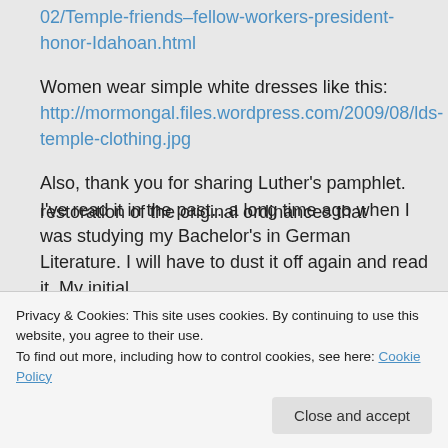02/Temple-friends–fellow-workers-president-honor-Idahoan.html
Women wear simple white dresses like this: http://mormongal.files.wordpress.com/2009/08/lds-temple-clothing.jpg
Also, thank you for sharing Luther's pamphlet. I've read it in the past…a long time ago when I was studying my Bachelor's in German Literature. I will have to dust it off again and read it. My initial
Privacy & Cookies: This site uses cookies. By continuing to use this website, you agree to their use.
To find out more, including how to control cookies, see here: Cookie Policy
restoration of the original ordinances that